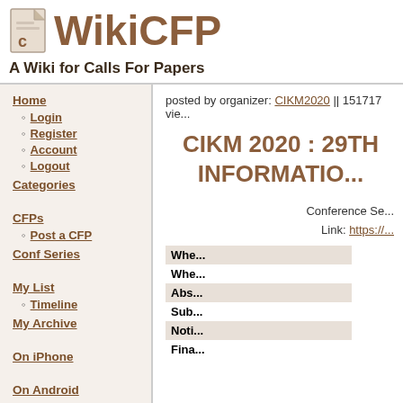[Figure (logo): WikiCFP logo with document icon and brown text]
A Wiki for Calls For Papers
Home
Login
Register
Account
Logout
Categories
CFPs
Post a CFP
Conf Series
My List
Timeline
My Archive
On iPhone
On Android
posted by organizer: CIKM2020 || 151717 vie...
CIKM 2020 : 29TH INFORMATIO...
Conference Se...
Link: https://...
| Field | Value |
| --- | --- |
| Whe... |  |
| Whe... |  |
| Abs... |  |
| Sub... |  |
| Noti... |  |
| Fina... |  |